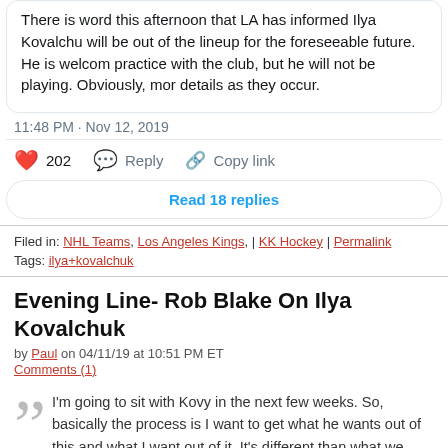There is word this afternoon that LA has informed Ilya Kovalchu will be out of the lineup for the foreseeable future. He is welcom practice with the club, but he will not be playing. Obviously, mor details as they occur.
11:48 PM · Nov 12, 2019
❤ 202   💬 Reply   🔗 Copy link
Read 18 replies
Filed in: NHL Teams, Los Angeles Kings, | KK Hockey | Permalink
Tags: ilya+kovalchuk
Evening Line- Rob Blake On Ilya Kovalchuk
by Paul on 04/11/19 at 10:51 PM ET
Comments (1)
I'm going to sit with Kovy in the next few weeks. So, basically the process is I want to get what he wants out of this and what I want out of it. It's different than what we talked about last summer, no doubt about that. I